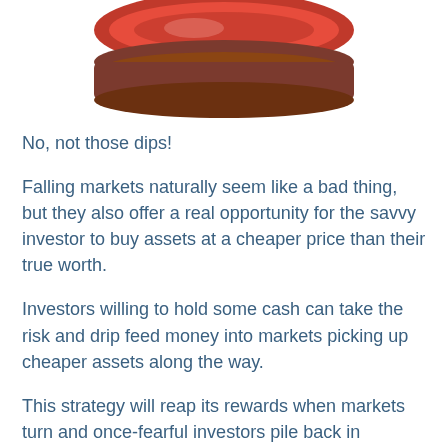[Figure (photo): Partial view of a red jar or container of dip/sauce, photographed from above against a white background.]
No, not those dips!
Falling markets naturally seem like a bad thing, but they also offer a real opportunity for the savvy investor to buy assets at a cheaper price than their true worth.
Investors willing to hold some cash can take the risk and drip feed money into markets picking up cheaper assets along the way.
This strategy will reap its rewards when markets turn and once-fearful investors pile back in pushing up